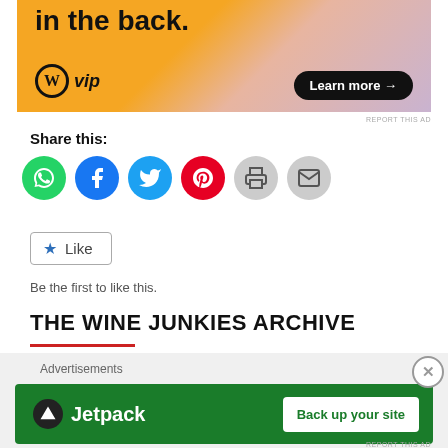[Figure (infographic): WordPress VIP advertisement banner with orange/pink gradient background. Text 'in the back.' at top, WordPress circle W logo with 'vip' text, and 'Learn more →' button.]
REPORT THIS AD
Share this:
[Figure (infographic): Row of social sharing icon circles: WhatsApp (green), Facebook (blue), Twitter (light blue), Pinterest (red), Print (gray), Email (gray).]
[Figure (infographic): Like button with blue star icon and 'Like' text, bordered box.]
Be the first to like this.
THE WINE JUNKIES ARCHIVE
[Figure (infographic): Jetpack advertisement banner with green background, Jetpack logo on left, 'Back up your site' button on right.]